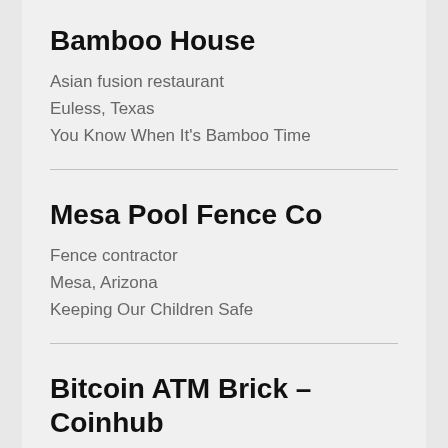Bamboo House
Asian fusion restaurant
Euless, Texas
You Know When It's Bamboo Time
Mesa Pool Fence Co
Fence contractor
Mesa, Arizona
Keeping Our Children Safe
Bitcoin ATM Brick – Coinhub
ATM
Brick, NJ